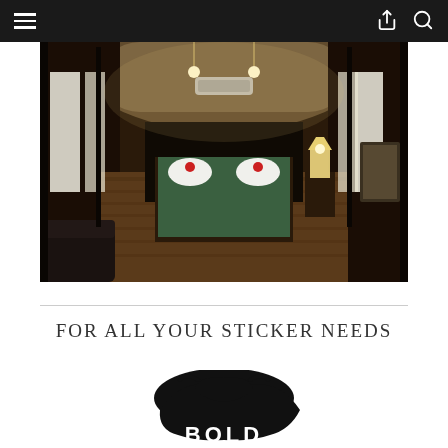Navigation bar with hamburger menu, share icon, and search icon
[Figure (photo): Interior of a vintage luxury train car converted into a bedroom suite, showing a double bed with green bedding and white towel swans, dark wood paneling, arched ceiling with pendant lights, cream curtains on windows along both sides, hardwood floor, a table lamp on the right, and a dark leather sofa in the foreground left.]
FOR ALL YOUR STICKER NEEDS
[Figure (logo): Partial view of a black bold-styled logo or graphic with the word BOLD visible at the bottom, featuring a dark animal figure (possibly a bull or similar) above the text, partially cropped at the bottom of the page.]